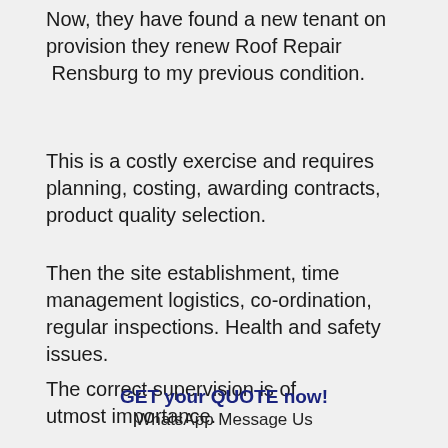Now, they have found a new tenant on provision they renew Roof Repair Rensburg to my previous condition.
This is a costly exercise and requires planning, costing, awarding contracts, product quality selection.
Then the site establishment, time management logistics, co-ordination, regular inspections. Health and safety issues.
The correct supervision is of utmost importance.
GET your QUOTE now!
WhatsApp Message Us